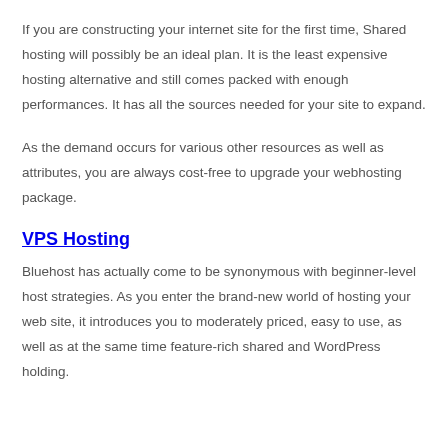If you are constructing your internet site for the first time, Shared hosting will possibly be an ideal plan. It is the least expensive hosting alternative and still comes packed with enough performances. It has all the sources needed for your site to expand.
As the demand occurs for various other resources as well as attributes, you are always cost-free to upgrade your webhosting package.
VPS Hosting
Bluehost has actually come to be synonymous with beginner-level host strategies. As you enter the brand-new world of hosting your web site, it introduces you to moderately priced, easy to use, as well as at the same time feature-rich shared and WordPress holding.